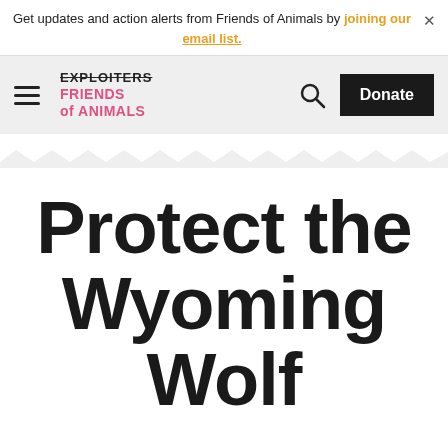Get updates and action alerts from Friends of Animals by joining our email list.
[Figure (logo): Friends of Animals logo with EXPLOITERS struck through above FRIENDS of ANIMALS in pink, hamburger menu icon, search icon, and Donate button]
Protect the Wyoming Wolf